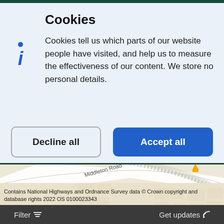Cookies
Cookies tell us which parts of our website people have visited, and help us to measure the effectiveness of our content. We store no personal details.
[Figure (screenshot): Cookie consent dialog with Decline all and Accept all buttons over a map background showing Middleton Road]
Contains National Highways and Ordnance Survey data © Crown copyright and database rights 2022 OS 0100023343
Filter   Get updates